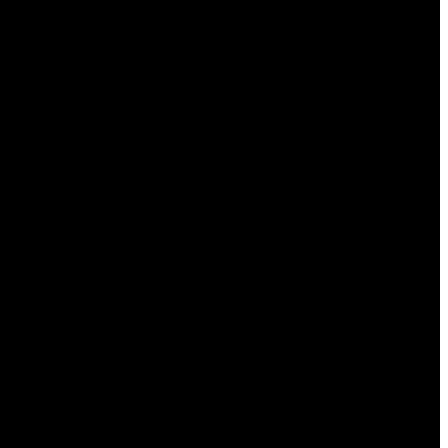Warrant May Be Unsealed'.
The reason some are thinking that this may relate to national security is that one…
By Peter Quennell on the post 'Another Legal Hoaxer Takes The First Of An Expected Many Hits'.
Is the heyday for conspiracy theories past and as folks wisen up, are they in…
By HotAir on the post 'Back In The News: UK's Suzy Lamplugh Case, Maybe Most Obsessed-Over Anywhere'.
Gosh, sounds like something out of a detective movie!
By Peter Quennell on the post 'Another Legal Hoaxer Takes The First Of An Expected Many Hits'.